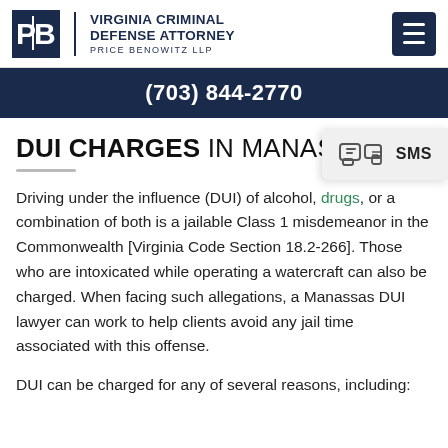VIRGINIA CRIMINAL DEFENSE ATTORNEY — PRICE BENOWITZ LLP | (703) 844-2770
DUI CHARGES IN MANASSAS
[Figure (other): SMS chat bubble icon with text 'SMS']
Driving under the influence (DUI) of alcohol, drugs, or a combination of both is a jailable Class 1 misdemeanor in the Commonwealth [Virginia Code Section 18.2-266]. Those who are intoxicated while operating a watercraft can also be charged. When facing such allegations, a Manassas DUI lawyer can work to help clients avoid any jail time associated with this offense.
DUI can be charged for any of several reasons, including: